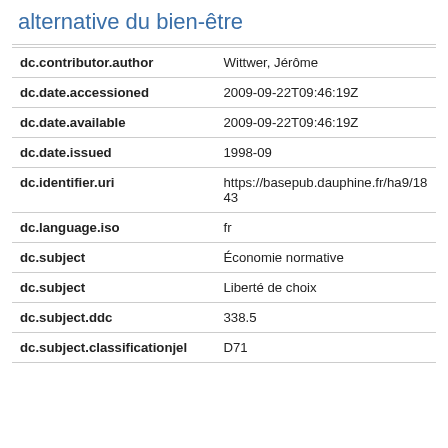alternative du bien-être
| Field | Value |
| --- | --- |
| dc.contributor.author | Wittwer, Jérôme |
| dc.date.accessioned | 2009-09-22T09:46:19Z |
| dc.date.available | 2009-09-22T09:46:19Z |
| dc.date.issued | 1998-09 |
| dc.identifier.uri | https://basepub.dauphine.fr/ha9/1843 |
| dc.language.iso | fr |
| dc.subject | Économie normative |
| dc.subject | Liberté de choix |
| dc.subject.ddc | 338.5 |
| dc.subject.classificationjel | D71 |